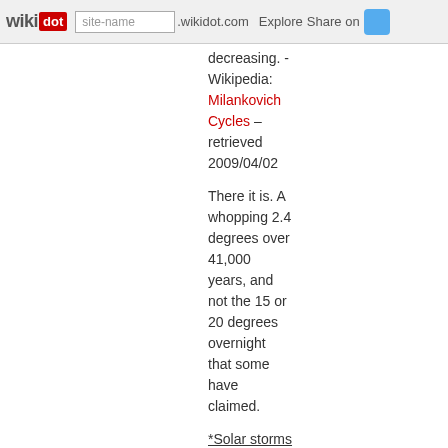wikidot | site-name .wikidot.com | Explore | Share on
decreasing. - Wikipedia: Milankovich Cycles – retrieved 2009/04/02
There it is. A whopping 2.4 degrees over 41,000 years, and not the 15 or 20 degrees overnight that some have claimed.
*Solar storms / Solar Flares:* Probably as a